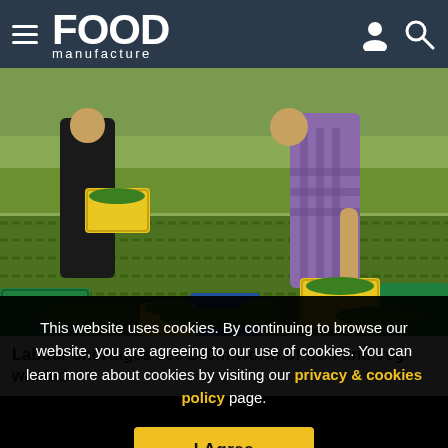Food manufacture
[Figure (photo): Workers harvesting vegetables in a field, carrying yellow crates filled with leafy greens, with rows of crops visible in the background.]
Labour shortages see £60m-worth of fruit and veg wasted
This website uses cookies. By continuing to browse our website, you are agreeing to our use of cookies. You can learn more about cookies by visiting our privacy & cookies policy page.